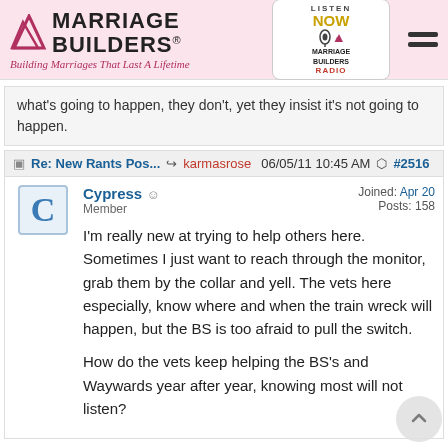[Figure (logo): Marriage Builders logo with red triangle arrows and tagline 'Building Marriages That Last A Lifetime', alongside a 'Listen Now Marriage Builders Radio' badge and hamburger menu icon]
what's going to happen, they don't, yet they insist it's not going to happen.
Re: New Rants Pos... karmasrose 06/05/11 10:45 AM #2516
Cypress Member  Joined: Apr 20  Posts: 158
I'm really new at trying to help others here. Sometimes I just want to reach through the monitor, grab them by the collar and yell. The vets here especially, know where and when the train wreck will happen, but the BS is too afraid to pull the switch.

How do the vets keep helping the BS's and Waywards year after year, knowing most will not listen?